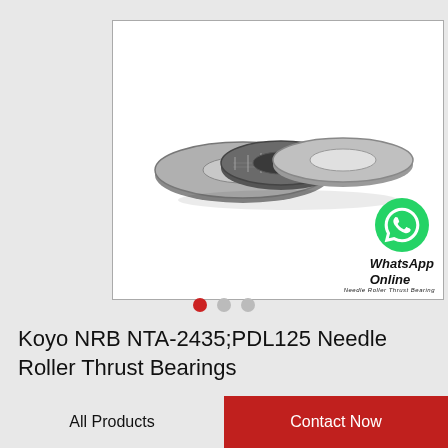[Figure (photo): Product photo of Koyo NRB NTA-2435;PDL125 Needle Roller Thrust Bearings showing two flat washers and one needle roller thrust cage assembly in metallic gray finish, with watermark text 'Needle Roller Thrust Bearing']
Koyo NRB NTA-2435;PDL125 Needle Roller Thrust Bearings
All Products
Contact Now